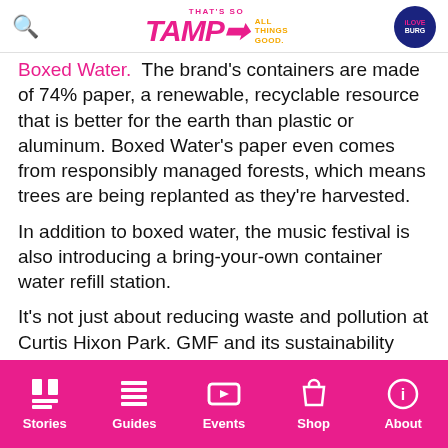That's So TAMPA — All Things Good. iLoveBurg logo.
Boxed Water.  The brand's containers are made of 74% paper, a renewable, recyclable resource that is better for the earth than plastic or aluminum. Boxed Water's paper even comes from responsibly managed forests, which means trees are being replanted as they're harvested.

In addition to boxed water, the music festival is also introducing a bring-your-own container water refill station.

It's not just about reducing waste and pollution at Curtis Hixon Park. GMF and its sustainability board want to reduce the event's footprint across the entire city. Now in its 9th year, GMF was one of the
Stories | Guides | Events | Shop | About